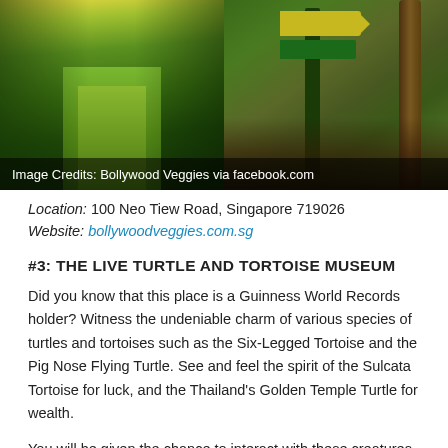[Figure (photo): Two outdoor photos side by side: left shows a green pathway through a lush jungle with sunlight; right shows a green directional signpost with yellow arrow signs in a forest setting.]
Image Credits: Bollywood Veggies via facebook.com
Location: 100 Neo Tiew Road, Singapore 719026
Website: bollywoodveggies.com.sg
#3: THE LIVE TURTLE AND TORTOISE MUSEUM
Did you know that this place is a Guinness World Records holder? Witness the undeniable charm of various species of turtles and tortoises such as the Six-Legged Tortoise and the Pig Nose Flying Turtle. See and feel the spirit of the Sulcata Tortoise for luck, and the Thailand's Golden Temple Turtle for wealth.
You will be given the chance to interact with these creatures by